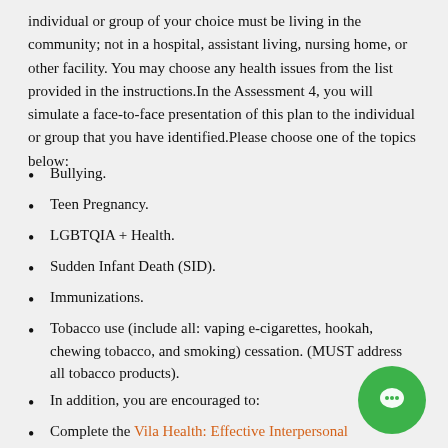individual or group of your choice must be living in the community; not in a hospital, assistant living, nursing home, or other facility. You may choose any health issues from the list provided in the instructions.In the Assessment 4, you will simulate a face-to-face presentation of this plan to the individual or group that you have identified.Please choose one of the topics below:
Bullying.
Teen Pregnancy.
LGBTQIA + Health.
Sudden Infant Death (SID).
Immunizations.
Tobacco use (include all: vaping e-cigarettes, hookah, chewing tobacco, and smoking) cessation. (MUST address all tobacco products).
In addition, you are encouraged to:
Complete the Vila Health: Effective Interpersonal Communications simulation.